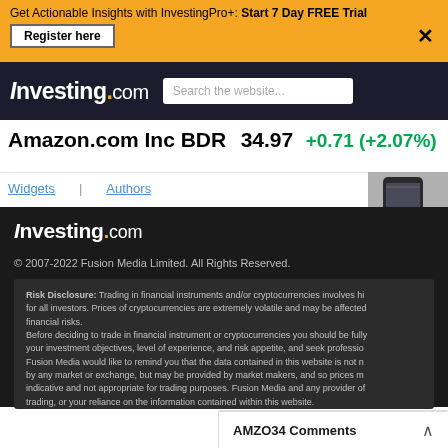Get Actionable Insights with InvestingPro+: Start 7 Day FREE Trial — Register here
[Figure (logo): Investing.com logo and search bar in dark header]
Amazon.com Inc BDR  34.97  +0.71 (+2.07%)
Widgets   Authors
[Figure (photo): Partial image of a mobile phone]
[Figure (logo): Investing.com logo in dark footer]
© 2007-2022 Fusion Media Limited. All Rights Reserved.
Risk Disclosure: Trading in financial instruments and/or cryptocurrencies involves hi... for all investors. Prices of cryptocurrencies are extremely volatile and may be affected... financial risks. Before deciding to trade in financial instrument or cryptocurrencies you should be fully... your investment objectives, level of experience, and risk appetite, and seek professio... Fusion Media would like to remind you that the data contained in this website is not n... by any market or exchange, but may be provided by market makers, and so prices m... indicative and not appropriate for trading purposes. Fusion Media and any provider of... trading, or your reliance on the information contained within this website. It is prohibited to use, store, reproduce, display, modify, transmit or distribute the data... data provider. All intellectual property rights are reserved by the providers and/or the a... Fusion Media may be compensated by the advertisers that appear on the website, ba...
AMZO34 Comments